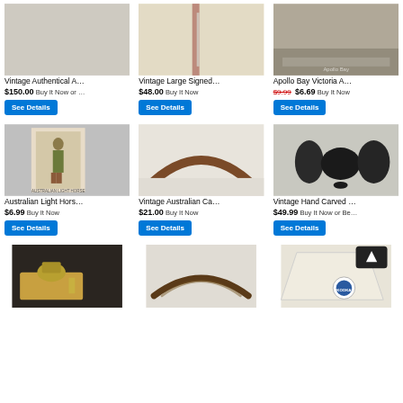[Figure (photo): Vintage Authentical A... product photo - plain surface]
Vintage Authentical A...
$150.00 Buy It Now or ...
See Details
[Figure (photo): Vintage Large Signed... product photo - ruler on fabric]
Vintage Large Signed...
$48.00 Buy It Now
See Details
[Figure (photo): Apollo Bay Victoria A... product photo - vintage landscape photo]
Apollo Bay Victoria A...
$9.99 $6.69 Buy It Now
See Details
[Figure (photo): Australian Light Hors... product photo - cigarette card with soldier]
Australian Light Hors...
$6.99 Buy It Now
See Details
[Figure (photo): Vintage Australian Ca... product photo - wooden coat hanger]
Vintage Australian Ca...
$21.00 Buy It Now
See Details
[Figure (photo): Vintage Hand Carved ... product photo - three dark carved stones]
Vintage Hand Carved ...
$49.99 Buy It Now or Be...
See Details
[Figure (photo): Bottom row left - metallic figurine on wooden plate]
[Figure (photo): Bottom row middle - wooden handbag frame]
[Figure (photo): Bottom row right - Kookaburra branded cloth item with scroll-up button]